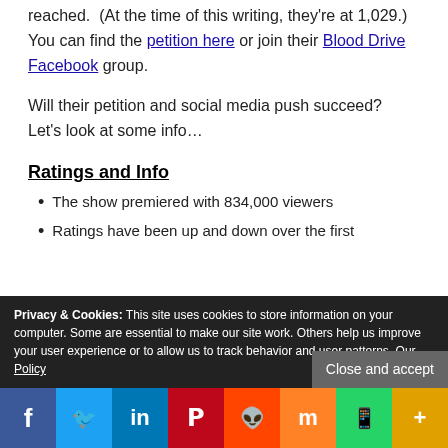reached.  (At the time of this writing, they're at 1,029.)  You can find the petition here or join their Blood Drive Facebook group.
Will their petition and social media push succeed?  Let's look at some info…
Ratings and Info
The show premiered with 834,000 viewers
Ratings have been up and down over the first
Privacy & Cookies: This site uses cookies to store information on your computer. Some are essential to make our site work. Others help us improve your user experience or to allow us to track behavior and user patterns. Our Policy
f  Twitter  in  P  Reddit  Mix  WhatsApp  More